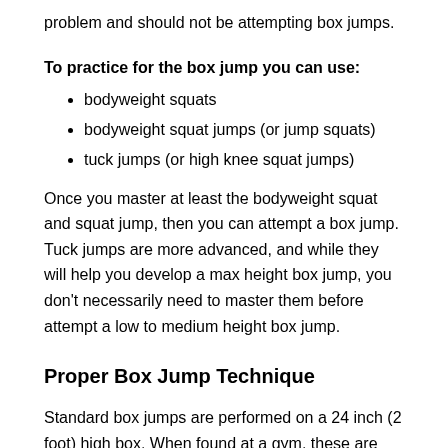problem and should not be attempting box jumps.
To practice for the box jump you can use:
bodyweight squats
bodyweight squat jumps (or jump squats)
tuck jumps (or high knee squat jumps)
Once you master at least the bodyweight squat and squat jump, then you can attempt a box jump. Tuck jumps are more advanced, and while they will help you develop a max height box jump, you don't necessarily need to master them before attempt a low to medium height box jump.
Proper Box Jump Technique
Standard box jumps are performed on a 24 inch (2 foot) high box. When found at a gym, these are typically boxes made for exercising; they are flat, hard, and pretty darned